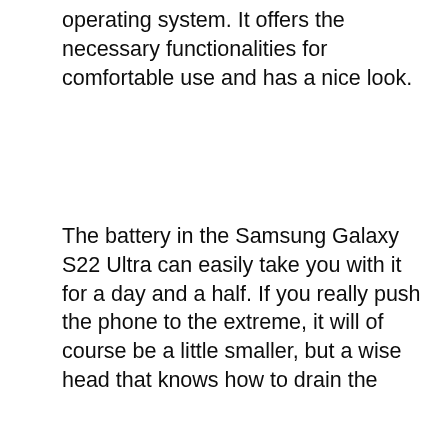operating system. It offers the necessary functionalities for comfortable use and has a nice look.
The battery in the Samsung Galaxy S22 Ultra can easily take you with it for a day and a half. If you really push the phone to the extreme, it will of course be a little smaller, but a wise head that knows how to drain the
We use cookies on our website to give you the most relevant experience by remembering your preferences and repeat visits. By clicking “Accept All”, you consent to the use of ALL the cookies. However, you may visit "Cookie Settings" to provide a controlled consent.